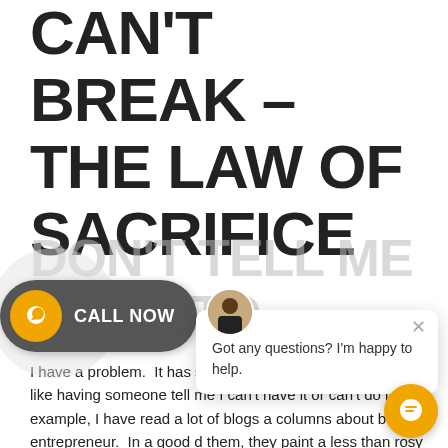CAN'T BREAK – THE LAW OF SACRIFICE
DON'T TELL ME WHAT TO
[Figure (other): Call Now button with WhatsApp phone icon, dark grey rounded pill shape with orange circle icon]
[Figure (other): Chat popup overlay with avatar of person in suit, close X button, and text 'Got any questions? I'm happy to help.']
I have a problem.  It has sometimes helping me a just don't like having someone tell me I can't have it or can't do it.  For example, I have read a lot of blogs a columns about being an entrepreneur.  In a good d them, they paint a less than rosy picture.  They often talk
[Figure (other): Orange circle chat widget button in bottom right corner]